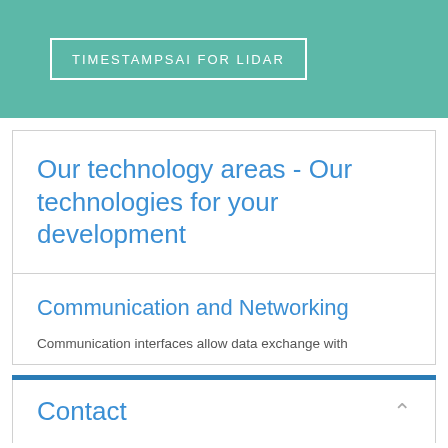TIMESTAMPSAI FOR LIDAR
Our technology areas - Our technologies for your development
Communication and Networking
Communication interfaces allow data exchange with
Contact